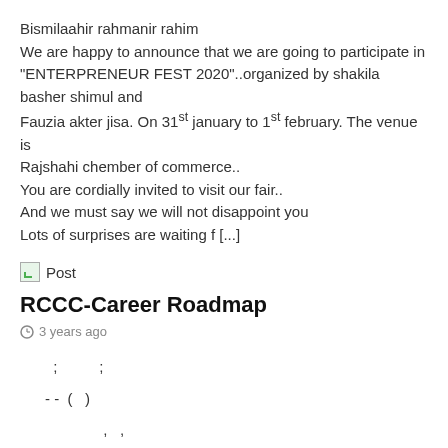Bismilaahir rahmanir rahim
We are happy to announce that we are going to participate in "ENTERPRENEUR FEST 2020"..organized by shakila basher shimul and Fauzia akter jisa. On 31st january to 1st february. The venue is Rajshahi chember of commerce..
You are cordially invited to visit our fair..
And we must say we will not disappoint you
Lots of surprises are waiting f [...]
[Figure (illustration): Broken image icon followed by the word Post]
RCCC-Career Roadmap
3 years ago
; ;
- - ( )
, ,
' � [...]